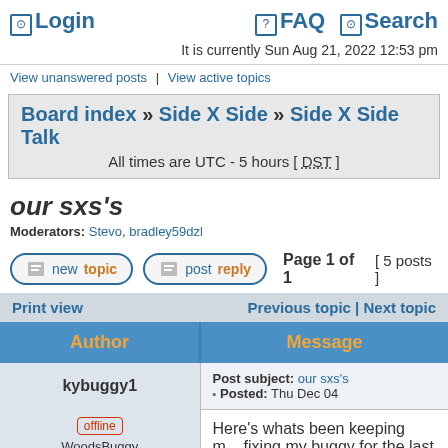Login | FAQ | Search
It is currently Sun Aug 21, 2022 12:53 pm
View unanswered posts | View active topics
Board index » Side X Side » Side X Side Talk
All times are UTC - 5 hours [ DST ]
our sxs's
Moderators: Stevo, bradley59dzl
Page 1 of 1  [ 5 posts ]
| Author | Message |
| --- | --- |
| kybuggy1 | Post subject: our sxs's
Posted: Thu Dec 04 |
| offline
WoodsBuggy Addict | Here's whats been keeping m... fixing my buggy for the last ye...
Quote: |